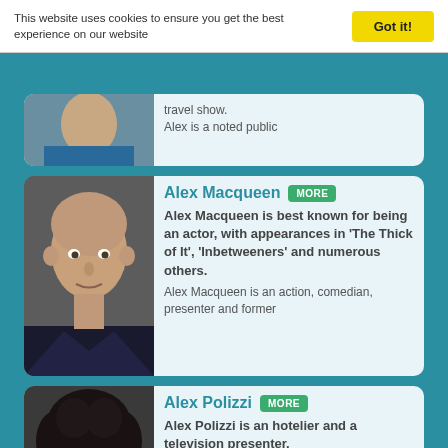This website uses cookies to ensure you get the best experience on our website
Got it!
travel show.
Alex is a noted public
Alex Macqueen
MORE
Alex Macqueen is best known for being an actor, with appearances in 'The Thick of It', 'Inbetweeners' and numerous others. Alex Macqueen is an action, comedian, presenter and former
Alex Polizzi
MORE
Alex Polizzi is an hotelier and a television presenter. Alex Polizzi is an English